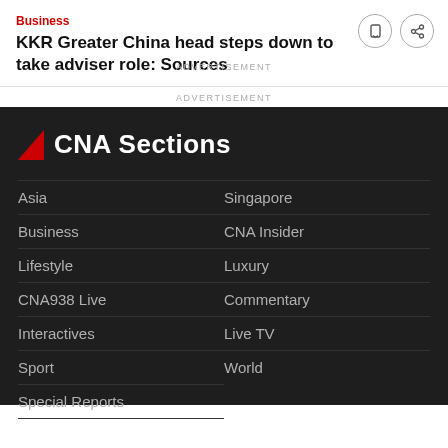Business
KKR Greater China head steps down to take adviser role: Sources
ADVERTISEMENT
CNA Sections
Asia
Singapore
Business
CNA Insider
Lifestyle
Luxury
CNA938 Live
Commentary
Interactives
Live TV
Sport
World
Special Reports